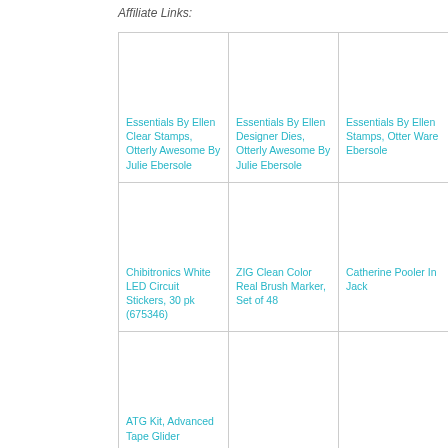Affiliate Links:
[Figure (photo): Product image placeholder for Essentials By Ellen Clear Stamps, Otterly Awesome By Julie Ebersole]
Essentials By Ellen Clear Stamps, Otterly Awesome By Julie Ebersole
[Figure (photo): Product image placeholder for Essentials By Ellen Designer Dies, Otterly Awesome By Julie Ebersole]
Essentials By Ellen Designer Dies, Otterly Awesome By Julie Ebersole
[Figure (photo): Product image placeholder for Essentials By Ellen Stamps, Otter Ware Ebersole]
Essentials By Ellen Stamps, Otter Ware Ebersole
[Figure (photo): Product image placeholder for Chibitronics White LED Circuit Stickers, 30 pk (675346)]
Chibitronics White LED Circuit Stickers, 30 pk (675346)
[Figure (photo): Product image placeholder for ZIG Clean Color Real Brush Marker, Set of 48]
ZIG Clean Color Real Brush Marker, Set of 48
[Figure (photo): Product image placeholder for Catherine Pooler In Jack]
Catherine Pooler In Jack
[Figure (photo): Product image placeholder for ATG Kit, Advanced Tape Glider]
ATG Kit, Advanced Tape Glider
[Figure (photo): Product image placeholder (bottom middle cell)]
[Figure (photo): Product image placeholder (bottom right cell, partially visible)]